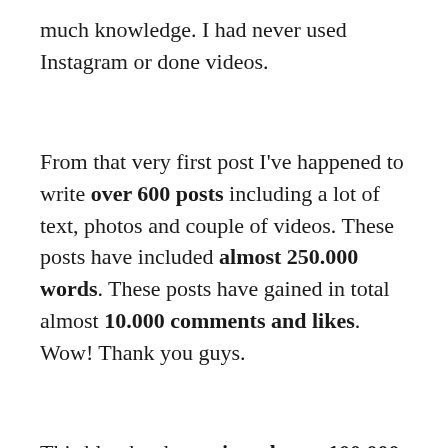much knowledge. I had never used Instagram or done videos.
From that very first post I've happened to write over 600 posts including a lot of text, photos and couple of videos. These posts have included almost 250.000 words. These posts have gained in total almost 10.000 comments and likes. Wow! Thank you guys.
This blog has been viewed over 100.000 times by over 50.000 unique visitors. At the moment there